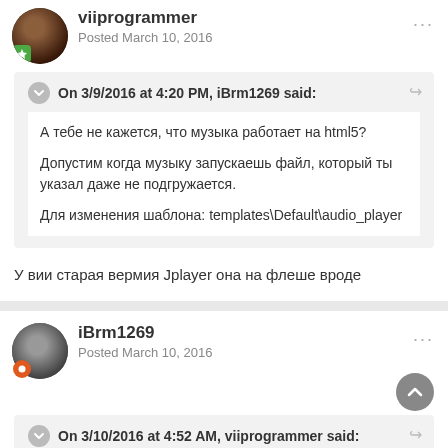viiprogrammer
Posted March 10, 2016
On 3/9/2016 at 4:20 PM, iBrm1269 said:
А тебе не кажется, что музыка работает на html5?

Допустим когда музыку запускаешь файл, который ты указал даже не подгружается.

Для изменения шаблона: templates\Default\audio_player
У вии старая вермия Jplayer она на флеше вроде
iBrm1269
Posted March 10, 2016
On 3/10/2016 at 4:52 AM, viiprogrammer said: